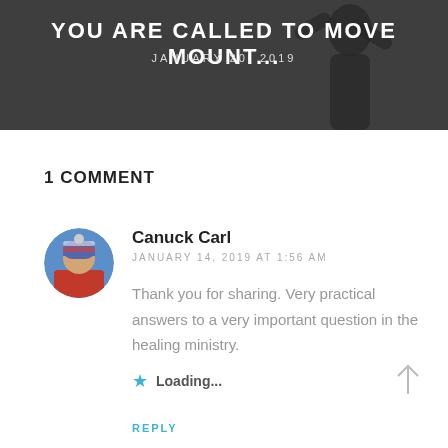[Figure (photo): Dark banner image with person silhouette, with overlaid title text 'YOU ARE CALLED TO MOVE MOUNT...' and date 'JANUARY 20, 2019']
YOU ARE CALLED TO MOVE MOUNT...
JANUARY 20, 2019
1 COMMENT
[Figure (photo): Circular avatar photo of a person wearing a striped winter hat and red jacket outdoors]
Canuck Carl
JANUARY 14, 2019 AT 1:56 AM
Thank you for sharing. Very practical answers to a very important question in the healing ministry.
Loading...
REPLY